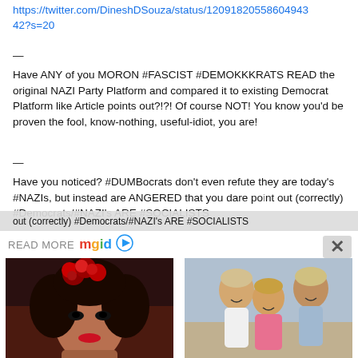https://twitter.com/DineshDSouza/status/12091820558604943
42?s=20
—
Have ANY of you MORON #FASCIST #DEMOKKKRATS READ the original NAZI Party Platform and compared it to existing Democrat Platform like Article points out?!?! Of course NOT! You know you'd be proven the fool, know-nothing, useful-idiot, you are!
—
Have you noticed? #DUMBocrats don't even refute they are today's #NAZIs, but instead are ANGERED that you dare point out (correctly) #Democrats/#NAZI's ARE #SOCIALISTS
READ MORE  mgid ▶
[Figure (photo): Photo of a woman with red roses in her hair and bold makeup]
10 Absolutely Stunning Asian Actresses
[Figure (photo): Photo of three people posing together outdoors]
Remember Abby And Brittany? Take A Deep Breath & See Them Now